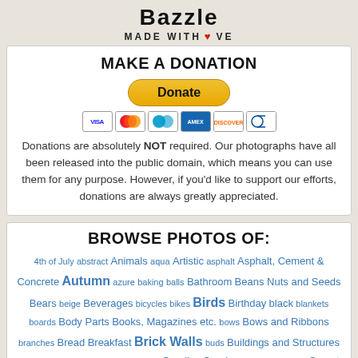Bazzle MADE WITH LOVE
MAKE A DONATION
[Figure (other): PayPal Donate button with credit card icons (Visa, Mastercard, Maestro, AmEx, Discover, Diners)]
Donations are absolutely NOT required. Our photographs have all been released into the public domain, which means you can use them for any purpose. However, if you'd like to support our efforts, donations are always greatly appreciated.
BROWSE PHOTOS OF:
4th of July abstract Animals aqua Artistic asphalt Asphalt, Cement & Concrete Autumn azure baking balls Bathroom Beans Nuts and Seeds Bears beige Beverages bicycles bikes Birds Birthday black blankets boards Body Parts Books, Magazines etc. bows Bows and Ribbons branches Bread Breakfast Brick Walls buds Buildings and Structures bulk foods burning cables calendars Candles Candy canvas cardboard Carpet and Rugs cars cat fur Cats cellular shades cement Christmas Christmas lights Christmas trees Cloth Clothes and Laundry coins Colorado colorful Computes